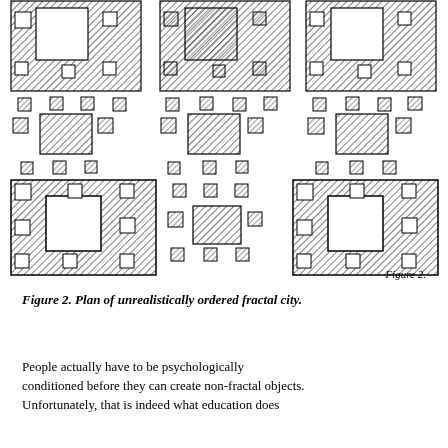[Figure (illustration): Plan diagrams of unrealistically ordered fractal city showing hierarchical arrangements of hatched squares and rectangles at multiple scales arranged in a 3x2 grid pattern with smaller isolated squares scattered between larger grouped squares.]
Figure 2.
Figure 2. Plan of unrealistically ordered fractal city.
People actually have to be psychologically conditioned before they can create non-fractal objects. Unfortunately, that is indeed what education does